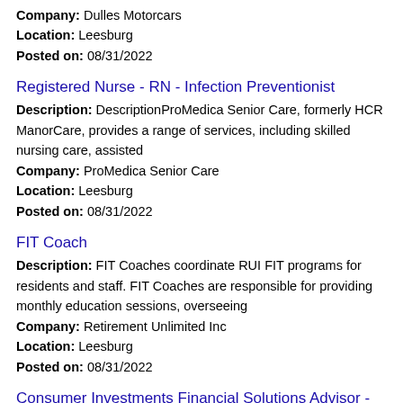Company: Dulles Motorcars
Location: Leesburg
Posted on: 08/31/2022
Registered Nurse - RN - Infection Preventionist
Description: DescriptionProMedica Senior Care, formerly HCR ManorCare, provides a range of services, including skilled nursing care, assisted
Company: ProMedica Senior Care
Location: Leesburg
Posted on: 08/31/2022
FIT Coach
Description: FIT Coaches coordinate RUI FIT programs for residents and staff. FIT Coaches are responsible for providing monthly education sessions, overseeing
Company: Retirement Unlimited Inc
Location: Leesburg
Posted on: 08/31/2022
Consumer Investments Financial Solutions Advisor - Northern VA Market
Description: Consumer Investments Financial Solutions Advisor - Northern VA Market b...s in Virginia Hire...s Virginia b...